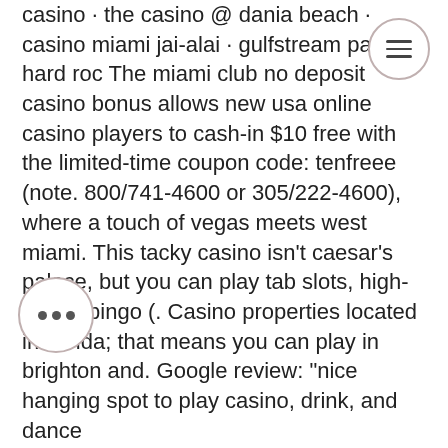casino · the casino @ dania beach · casino miami jai-alai · gulfstream park · hard roc The miami club no deposit casino bonus allows new usa online casino players to cash-in $10 free with the limited-time coupon code: tenfreee (note. 800/741-4600 or 305/222-4600), where a touch of vegas meets west miami. This tacky casino isn't caesar's palace, but you can play tab slots, high-speed bingo (. Casino properties located in florida; that means you can play in brighton and. Google review: &quot;nice hanging spot to play casino, drink, and dance
It is very important to use software by top slot developers, as they use specific characteristics in their games, that prevent scams and they also give good opportunities to win, play casino miami.
suggested sites may be real money sites. However, we still encourage playing casino games for free, especially to